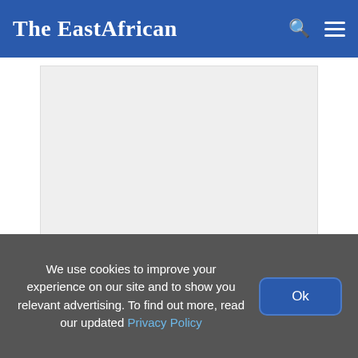The EastAfrican
[Figure (other): Advertisement placeholder area, light grey background]
By THE CITIZEN
We use cookies to improve your experience on our site and to show you relevant advertising. To find out more, read our updated Privacy Policy